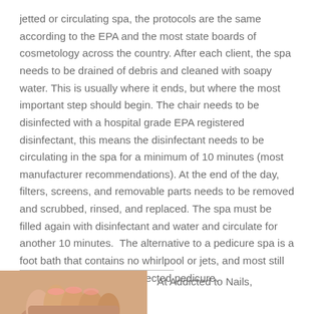jetted or circulating spa, the protocols are the same according to the EPA and the most state boards of cosmetology across the country. After each client, the spa needs to be drained of debris and cleaned with soapy water. This is usually where it ends, but where the most important step should begin. The chair needs to be disinfected with a hospital grade EPA registered disinfectant, this means the disinfectant needs to be circulating in the spa for a minimum of 10 minutes (most manufacturer recommendations). At the end of the day, filters, screens, and removable parts needs to be removed and scrubbed, rinsed, and replaced. The spa must be filled again with disinfectant and water and circulate for another 10 minutes.  The alternative to a pedicure spa is a foot bath that contains no whirlpool or jets, and most still offer a liner for a more protected pedicure.
[Figure (photo): Photo of feet/toes in a pedicure spa, partially visible at the bottom left of the page]
At Addicted to Nails,